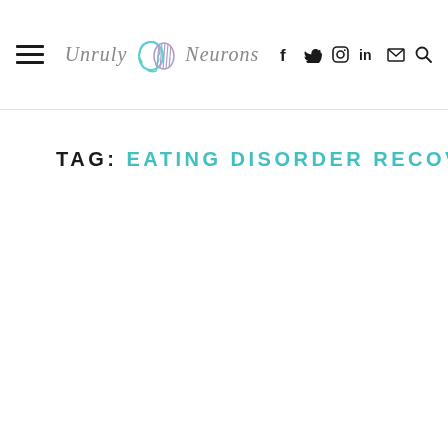Unruly Neurons — navigation header with hamburger menu, logo, and social icons (f, twitter, instagram, in, email, search)
TAG: EATING DISORDER RECOVERY